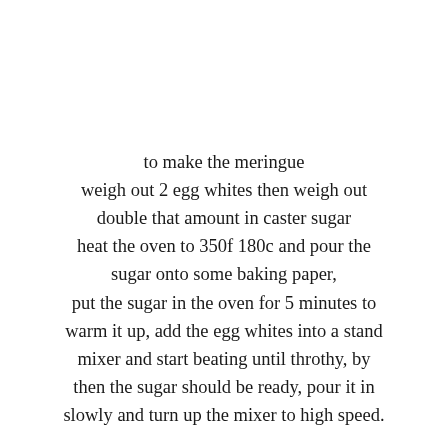to make the meringue weigh out 2 egg whites then weigh out double that amount in caster sugar heat the oven to 350f 180c and pour the sugar onto some baking paper, put the sugar in the oven for 5 minutes to warm it up, add the egg whites into a stand mixer and start beating until throthy, by then the sugar should be ready, pour it in slowly and turn up the mixer to high speed.